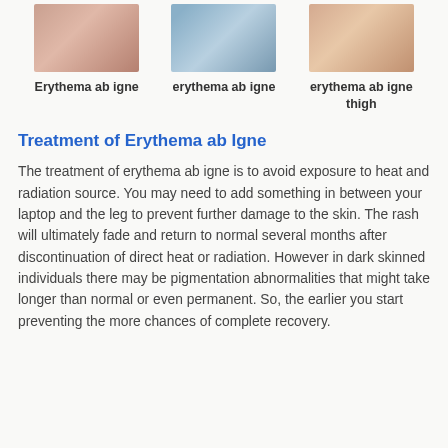[Figure (photo): Three medical photos showing erythema ab igne skin conditions - close-up of reddened skin, affected leg, and thigh]
Erythema ab igne
erythema ab igne
erythema ab igne thigh
Treatment of Erythema ab Igne
The treatment of erythema ab igne is to avoid exposure to heat and radiation source. You may need to add something in between your laptop and the leg to prevent further damage to the skin. The rash will ultimately fade and return to normal several months after discontinuation of direct heat or radiation. However in dark skinned individuals there may be pigmentation abnormalities that might take longer than normal or even permanent. So, the earlier you start preventing the more chances of complete recovery.